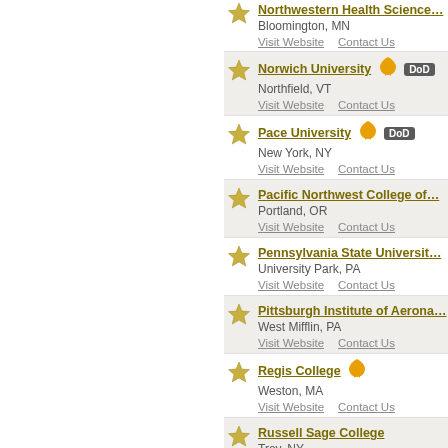Northwestern Health Science — Bloomington, MN — Visit Website | Contact Us
Norwich University — Northfield, VT — Visit Website | Contact Us
Pace University — New York, NY — Visit Website | Contact Us
Pacific Northwest College of — Portland, OR — Visit Website | Contact Us
Pennsylvania State University — University Park, PA — Visit Website | Contact Us
Pittsburgh Institute of Aerona — West Mifflin, PA — Visit Website | Contact Us
Regis College — Weston, MA — Visit Website | Contact Us
Russell Sage College — Troy, NY — Visit Website | Contact Us